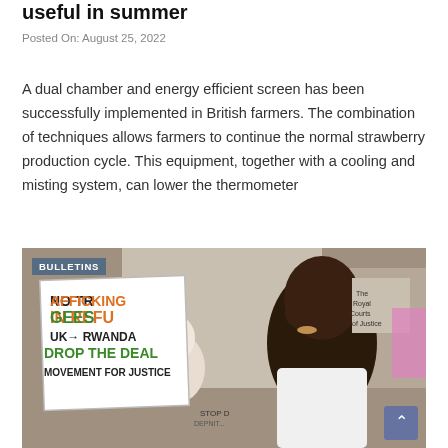useful in summer
Posted On: August 25, 2022
A dual chamber and energy efficient screen has been successfully implemented in British farmers. The combination of techniques allows farmers to continue the normal strawberry production cycle. This equipment, together with a cooling and misting system, can lower the thermometer
[Figure (photo): Protest scene with people holding signs reading 'NO TRAFFICKING IN REFUGEES UK→RWANDA DROP THE DEAL MOVEMENT FOR JUSTICE'. A Black woman in the foreground covers her face with her hands. An elderly white woman stands nearby, and a man in a black mask is visible behind. The Royal Courts of Justice sign is visible in the background. A 'BULLETINS' label overlay appears in the top-left corner.]